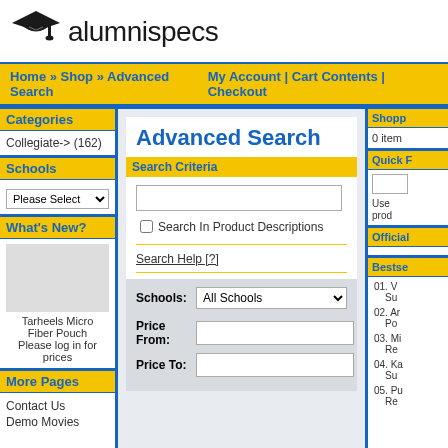[Figure (logo): Alumnispecs logo with graduation cap icon and text 'alumnispecs']
Home » Shop » Advanced Search   My Account | Cart Contents | Checkout
Categories
Collegiate-> (162)
Schools
Please Select (dropdown)
What's New?
Tarheels Micro Fiber Pouch
Please log in for prices
More Pages
Contact Us
Demo Movies
Advanced Search
Search Criteria
Search In Product Descriptions
Search Help [?]
Schools: All Schools
Price From:
Price To:
Shopp
0 item
Quick F
Official
Bestsellers
01. V Su
02. An Po
03. Mi Re
04. Ka Su
05. Pu Re